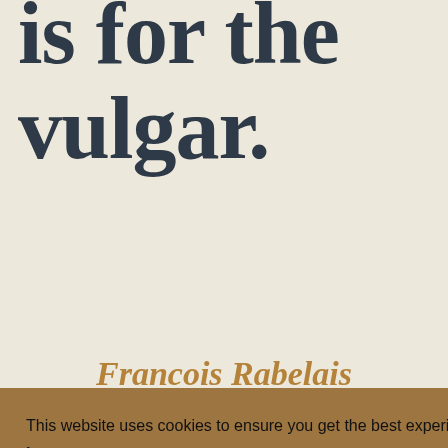is for the vulgar.
Francois Rabelais
This website uses cookies to ensure you get the best experience on our website. Learn more Got it!